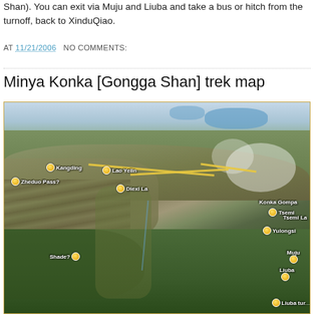Shan). You can exit via Muju and Liuba and take a bus or hitch from the turnoff, back to XinduQiao.
AT 11/21/2006  NO COMMENTS:
Minya Konka [Gongga Shan] trek map
[Figure (map): 3D aerial/satellite style terrain map of the Minya Konka (Gongga Shan) trekking area showing labeled locations including Kangding, Zheduo Pass, Lao Yelin, Diexi La, Konka Gompa, Tsemi, Tsemi La, Yulongsi, Shade, Muju, Liuba, and Liuba turnoff, with a yellow route line overlaid on mountainous terrain.]